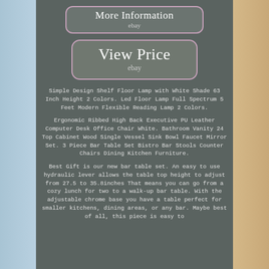[Figure (other): Light blue brick wall background on left side and wooden panel on right side]
More Information
ebay
View Price
ebay
Simple Design Shelf Floor Lamp with White Shade 63 Inch Height 2 Colors. Led Floor Lamp Full Spectrum 5 Feet Modern Flexible Reading Lamp 2 Colors.
Ergonomic Ribbed High Back Executive PU Leather Computer Desk Office Chair White. Bathroom Vanity 24 Top Cabinet Wood Single Vessel Sink Bowl Faucet Mirror Set. 3 Piece Bar Table Set Bistro Bar Stools Counter Chairs Dining Kitchen Furniture.
Best Gift is our new bar table set. An easy to use hydraulic lever allows the table top height to adjust from 27.5 to 35.8inches That means you can go from a cozy lunch for two to a walk-up bar table. With the adjustable chrome base you have a table perfect for smaller kitchens, dining areas, or any bar. Maybe best of all, this piece is easy to